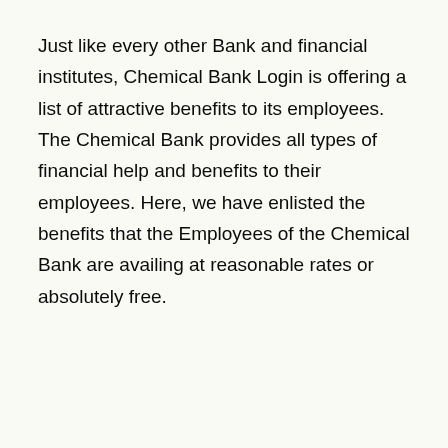Just like every other Bank and financial institutes, Chemical Bank Login is offering a list of attractive benefits to its employees. The Chemical Bank provides all types of financial help and benefits to their employees. Here, we have enlisted the benefits that the Employees of the Chemical Bank are availing at reasonable rates or absolutely free.